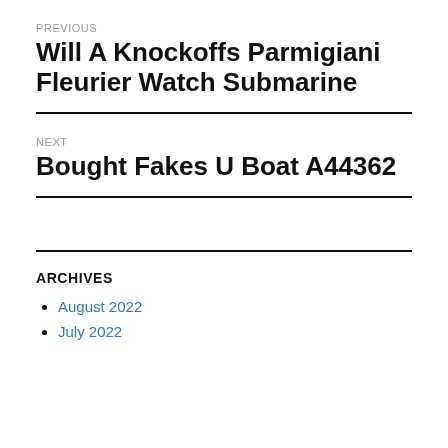PREVIOUS
Will A Knockoffs Parmigiani Fleurier Watch Submarine
NEXT
Bought Fakes U Boat A44362
ARCHIVES
August 2022
July 2022